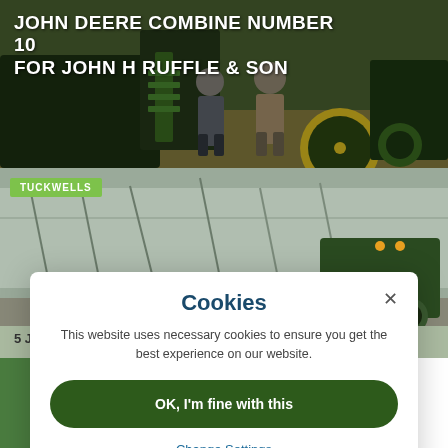[Figure (photo): John Deere combine harvester in a field with two people standing in front, taken outdoors during harvest. Text overlay shows the post title and a 'View Post' link.]
JOHN DEERE COMBINE NUMBER 10 FOR JOHN H RUFFLE & SON
VIEW POST >
[Figure (photo): A tractor working in a snow-covered or frost-covered field/landscape, with the Tuckwells badge and date overlay showing '5 Jul 2022'.]
TUCKWELLS
5 Jul 2022
Cookies
This website uses necessary cookies to ensure you get the best experience on our website.
OK, I'm fine with this
Change Settings